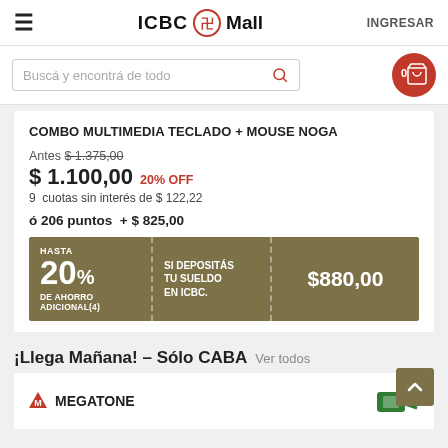ICBC Mall  INGRESAR
Buscá y encontrá de todo
COMBO MULTIMEDIA TECLADO + MOUSE NOGA
Antes $1.375,00
$1.100,00  20% OFF
9 cuotas sin interés de $122,22
ó 206 puntos + $825,00
HASTA 20% DE AHORRO ADICIONAL(4)  SI DEPOSITÁS TU SUELDO EN ICBC.  $880,00
¡Llega Mañana! – Sólo CABA  Ver todos
[Figure (logo): Megatone logo with delivery icon]